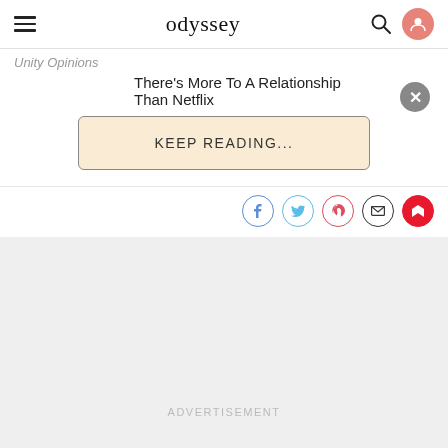odyssey
Unity Opinions
There's More To A Relationship Than Netflix
KEEP READING...
[Figure (infographic): Social share icons: Facebook, Twitter, Pinterest, Email, Flipboard]
ADVERTISEMENT